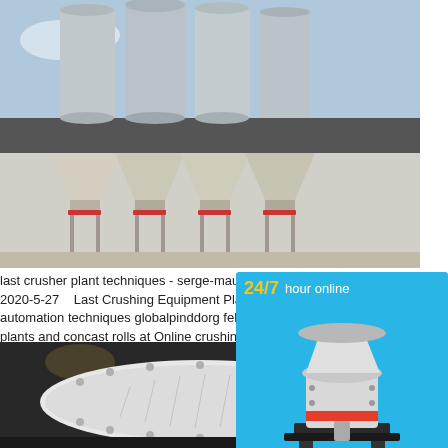[Figure (photo): Industrial facility with multiple large metal silos/hoppers on a concrete platform with a dark roof structure, industrial setting]
last crusher plant techniques - serge-maudet.fr
2020-5-27    Last Crushing Equipment Plant Techniques. last crusher plant techniques commacongrnl. crusher automation techniques globalpinddorg feb w… a term used to describe a group of techniques… hammers in power plants and concast rolls… at Online crushing techniques for hammer cru… rg crushing techniques for hammer crusher.ge…
Read More
[Figure (photo): Large white industrial ball mill machine in a workshop/factory setting]
[Figure (other): Advertisement sidebar: 24/7 hour online with cone crusher image, Click me to chat>> button, Enquiry section, limingjlmofen text on blue background]